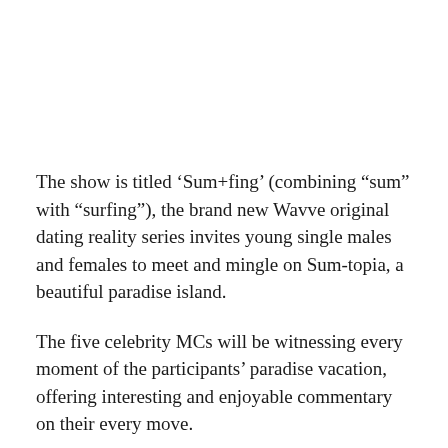The show is titled ‘Sum+fing’ (combining “sum” with “surfing”), the brand new Wavve original dating reality series invites young single males and females to meet and mingle on Sum-topia, a beautiful paradise island.
The five celebrity MCs will be witnessing every moment of the participants’ paradise vacation, offering interesting and enjoyable commentary on their every move.
Hosted by Jo Se Ho, WINNER’s Kang Seung Yoon and Kim Jin Woo, Lee Mi Joo, and Uhm Ji Yoon, the reality